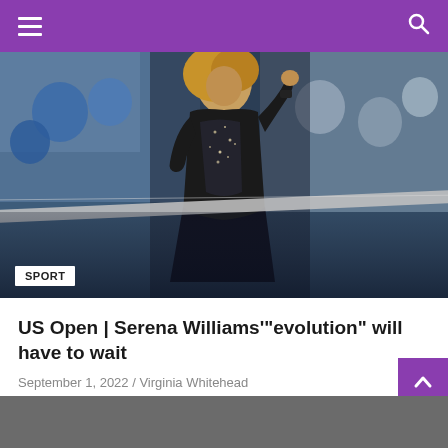Navigation bar with hamburger menu and search icon
[Figure (photo): Serena Williams in a black outfit at the US Open tennis court, celebrating with fist raised, crowd visible in background, net in foreground, SPORT label overlay in bottom left]
US Open | Serena Williams'“evolution” will have to wait
September 1, 2022 / Virginia Whitehead
[Figure (photo): Partial view of next article image - gray/dark background, bottom of page]